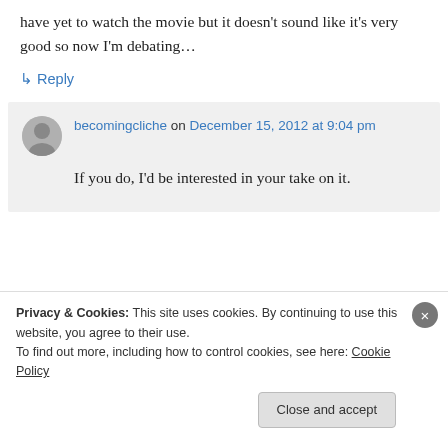have yet to watch the movie but it doesn't sound like it's very good so now I'm debating…
↳ Reply
becomingcliche on December 15, 2012 at 9:04 pm
If you do, I'd be interested in your take on it.
Privacy & Cookies: This site uses cookies. By continuing to use this website, you agree to their use. To find out more, including how to control cookies, see here: Cookie Policy
Close and accept